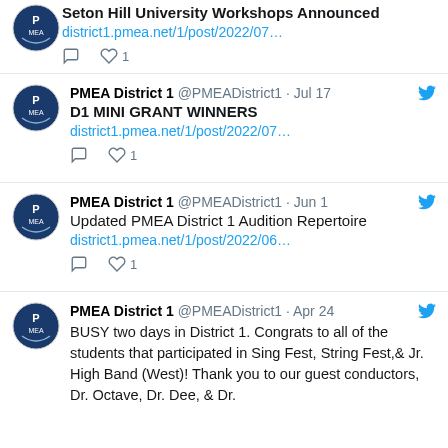Seton Hill University Workshops Announced
district1.pmea.net/1/post/2022/07…
♡ 1
PMEA District 1 @PMEADistrict1 · Jul 17
D1 MINI GRANT WINNERS
district1.pmea.net/1/post/2022/07…
♡ 1
PMEA District 1 @PMEADistrict1 · Jun 1
Updated PMEA District 1 Audition Repertoire
district1.pmea.net/1/post/2022/06…
♡ 1
PMEA District 1 @PMEADistrict1 · Apr 24
BUSY two days in District 1. Congrats to all of the students that participated in Sing Fest, String Fest,& Jr. High Band (West)! Thank you to our guest conductors, Dr. Octave, Dr. Dee, & Dr.